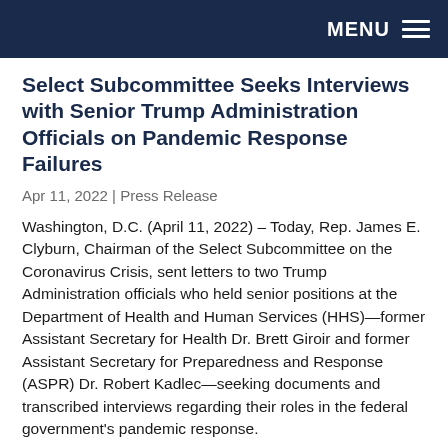MENU
Select Subcommittee Seeks Interviews with Senior Trump Administration Officials on Pandemic Response Failures
Apr 11, 2022 | Press Release
Washington, D.C. (April 11, 2022) – Today, Rep. James E. Clyburn, Chairman of the Select Subcommittee on the Coronavirus Crisis, sent letters to two Trump Administration officials who held senior positions at the Department of Health and Human Services (HHS)—former Assistant Secretary for Health Dr. Brett Giroir and former Assistant Secretary for Preparedness and Response (ASPR) Dr. Robert Kadlec—seeking documents and transcribed interviews regarding their roles in the federal government's pandemic response.
Senior Biden Administration Officials Testify Before Select Subcommittee on New Pandemic